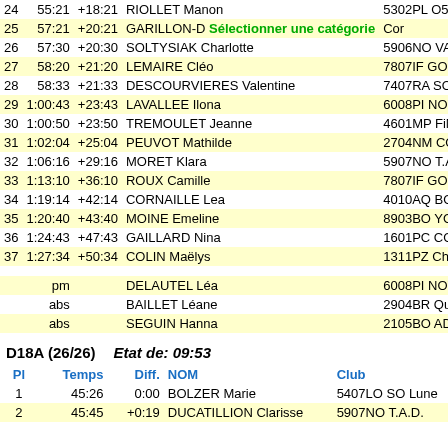| Pl | Temps | Diff. | NOM | Club |
| --- | --- | --- | --- | --- |
| 24 | 55:21 | +18:21 | RIOLLET Manon | 5302PL O53 |
| 25 | 57:21 | +20:21 | GARILLON-D [Sélectionner une catégorie] | Cor... |
| 26 | 57:30 | +20:30 | SOLTYSIAK Charlotte | 5906NO VALMO |
| 27 | 58:20 | +21:20 | LEMAIRE Cléo | 7807IF GO78 |
| 28 | 58:33 | +21:33 | DESCOURVIERES Valentine | 7407RA SOS GO |
| 29 | 1:00:43 | +23:43 | LAVALLEE Ilona | 6008PI NOYON O |
| 30 | 1:00:50 | +23:50 | TREMOULET Jeanne | 4601MP FiNO46 |
| 31 | 1:02:04 | +25:04 | PEUVOT Mathilde | 2704NM COBS |
| 32 | 1:06:16 | +29:16 | MORET Klara | 5907NO T.A.D. |
| 33 | 1:13:10 | +36:10 | ROUX Camille | 7807IF GO78 |
| 34 | 1:19:14 | +42:14 | CORNAILLE Lea | 4010AQ BONO |
| 35 | 1:20:40 | +43:40 | MOINE Emeline | 8903BO YCONE |
| 36 | 1:24:43 | +47:43 | GAILLARD Nina | 1601PC COF |
| 37 | 1:27:34 | +50:34 | COLIN Maëlys | 1311PZ Chat'O |
|  | pm |  | DELAUTEL Léa | 6008PI NOYON O |
|  | abs |  | BAILLET Léane | 2904BR Quimper |
|  | abs |  | SEGUIN Hanna | 2105BO ADOChe |
| Pl | Temps | Diff. | NOM | Club |
| --- | --- | --- | --- | --- |
| 1 | 45:26 | 0:00 | BOLZER Marie | 5407LO SO Lune |
| 2 | 45:45 | +0:19 | DUCATILLION Clarisse | 5907NO T.A.D. |